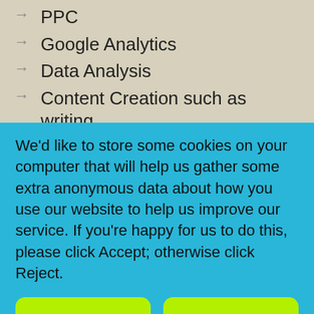PPC
Google Analytics
Data Analysis
Content Creation such as writing blogs, social media posts and
We'd like to store some cookies on your computer that will help us gather some extra anonymous data about how you use our website to help us improve our service. If you're happy for us to do this, please click Accept; otherwise click Reject.